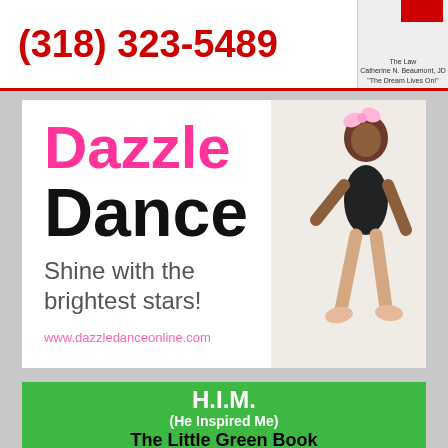[Figure (infographic): Top advertisement banner with red phone number (318) 323-5489 and a small red logo box on the right with small text]
[Figure (infographic): Dazzle Dance advertisement. Pink text 'Dazzle', black text 'Dance', tagline 'Shine with the brightest stars!', website www.dazzledanceonline.com, and a young girl in a black leotard on the right side.]
[Figure (infographic): Green advertisement for H.I.M. (He Inspired Me) - The Little Green Book]